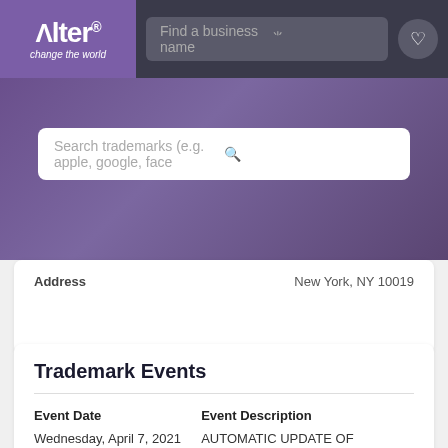[Figure (logo): Alter logo with tagline 'change the world' on purple background]
Find a business name
| Address | New York, NY 10019 |
| --- | --- |
Trademark Events
| Event Date | Event Description |
| --- | --- |
| Wednesday, April 7, 2021 | AUTOMATIC UPDATE OF ASSIGNMENT OF OWNERSHIP |
| Friday, April 10, 2020 | NOTICE OF ACCEPTANCE OF SEC. 8 & 9 - E-MAILED |